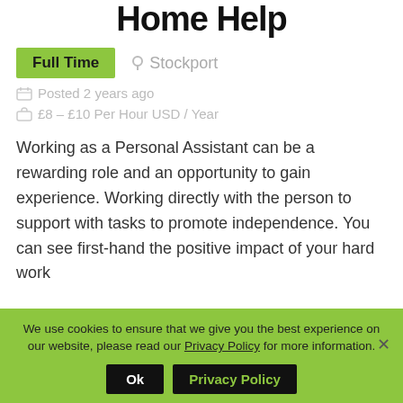Home Help
Full Time   Stockport
Posted 2 years ago
£8 – £10 Per Hour USD / Year
Working as a Personal Assistant can be a rewarding role and an opportunity to gain experience. Working directly with the person to support with tasks to promote independence. You can see first-hand the positive impact of your hard work
We use cookies to ensure that we give you the best experience on our website, please read our Privacy Policy for more information.